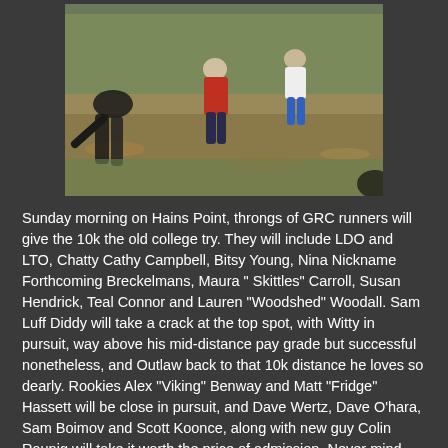[Figure (photo): Outdoor photo of cross-country runners in a field with autumn foliage, shot from behind one runner in the foreground.]
Sunday morning on Hains Point, throngs of GRC runners will give the 10k the old college try. They will include LDO and LTO, Chatty Cathy Campbell, Bitsy Young, Nina Nickname Forthcoming Breckelmans, Maura " Skittles" Carroll, Susan Hendrick, Teal Connor and Lauren "Woodshed" Woodall. Sam Luff Diddy will take a crack at the top spot, with Witty in pursuit, way above his mid-distance pay grade but successful nonetheless, and Outlaw back to that 10k distance he loves so dearly. Rookies Alex "Viking" Benway and Matt "Fridge" Hassett will be close in pursuit, and Dave Wertz, Dave O'hara, Sam Boimov and Scott Koonce, along with new guy Colin Raunig will take it worth the price of admission. Never mind that it's free to watch, for that matter, don't be shy about checking it out at 8 am.